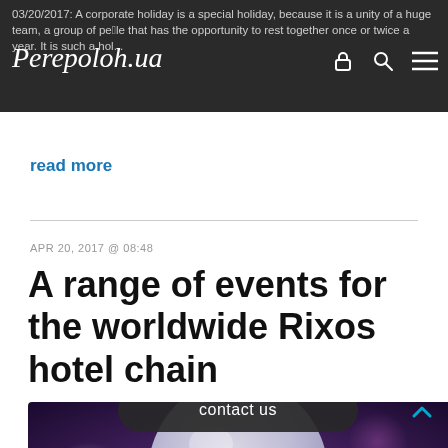03/20/2017: A corporate holiday is a special holiday, because it is a unity of a huge team, a group of people that has the opportunity to rest together once or twice a year. It is such a hol...
read more
APR 20, 2017 @ 08:48
A range of events for the worldwide Rixos hotel chain
[Figure (photo): Dark bokeh background with a large white balloon displaying 'Rixos' logo, colorful purple and pink lights in background. A dark rounded contact bar at the bottom reads 'contact us' with a teal up-arrow chevron.]